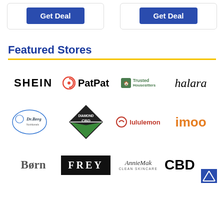[Figure (other): Two 'Get Deal' buttons inside card outlines at the top of the page]
Featured Stores
[Figure (other): Row 1 store logos: SHEIN, PatPat, TrustedHousesitters, halara]
[Figure (other): Row 2 store logos: Dr.Berg, Diamond CBD, lululemon, imoo]
[Figure (other): Row 3 store logos: Born, FREY, AnnieMak Clean Skincare, CBD (partial)]